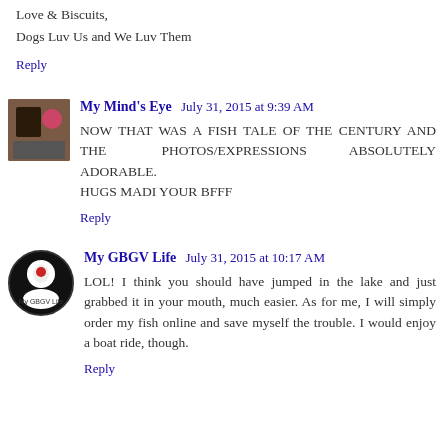Love & Biscuits,
Dogs Luv Us and We Luv Them
Reply
My Mind's Eye  July 31, 2015 at 9:39 AM
NOW THAT WAS A FISH TALE OF THE CENTURY AND THE PHOTOS/EXPRESSIONS ABSOLUTELY ADORABLE.
HUGS MADI YOUR BFFF
Reply
My GBGV Life  July 31, 2015 at 10:17 AM
LOL! I think you should have jumped in the lake and just grabbed it in your mouth, much easier. As for me, I will simply order my fish online and save myself the trouble. I would enjoy a boat ride, though.
Reply